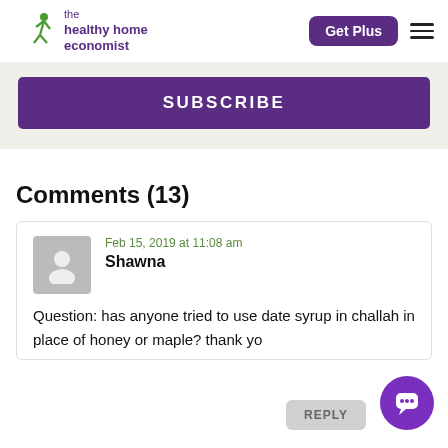the healthy home economist | Get Plus
SUBSCRIBE
Comments (13)
Shawna
Feb 15, 2019 at 11:08 am
Question: has anyone tried to use date syrup in challah in place of honey or maple? thank yo